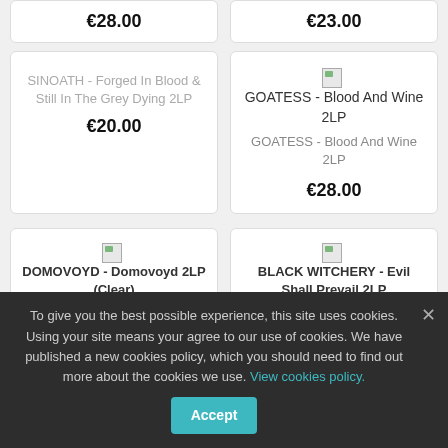€28.00
€23.00
SINOATH - Forged In Blood & Still In The Grey Dying 2LP
€20.00
GOATESS - Blood And Wine 2LP
GOATESS - Blood And Wine 2LP
€28.00
DOMOVOYD - Domovoyd 2LP (Clear)
BLACK WITCHERY - Evil Shall Prevail 2LP
DOMOVOYD - Domovoyd
BLACK WITCHERY - Evil
€30.00
€20.00
To give you the best possible experience, this site uses cookies. Using your site means your agree to our use of cookies. We have published a new cookies policy, which you should need to find out more about the cookies we use.
View cookies policy.
Accept